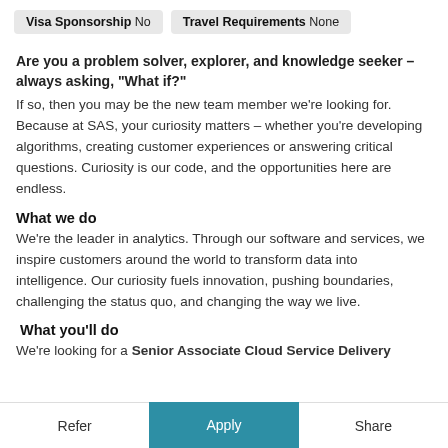Visa Sponsorship No   Travel Requirements None
Are you a problem solver, explorer, and knowledge seeker – always asking, "What if?" If so, then you may be the new team member we're looking for. Because at SAS, your curiosity matters – whether you're developing algorithms, creating customer experiences or answering critical questions. Curiosity is our code, and the opportunities here are endless.
What we do
We're the leader in analytics. Through our software and services, we inspire customers around the world to transform data into intelligence. Our curiosity fuels innovation, pushing boundaries, challenging the status quo, and changing the way we live.
What you'll do
We're looking for a Senior Associate Cloud Service Delivery Manager (CSDM) to…
Refer   Apply   Share